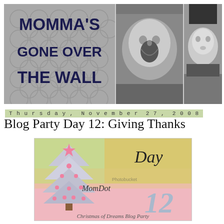[Figure (photo): Blog header banner with three panels: left panel shows 'Momma's Gone Over The Wall' text on grey quatrefoil background, middle panel shows black and white photo of laughing baby, right panel shows black and white photo of child in winter hat]
Thursday, November 27, 2008
Blog Party Day 12: Giving Thanks
[Figure (illustration): MomDot Christmas of Dreams Blog Party Day 12 badge with Christmas tree, star, pink decorations, and stylized text on colorful background]